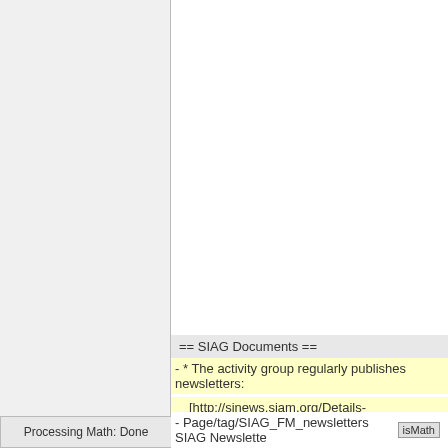Processing Math: Done
== SIAG Documents ==
- * The activity group regularly publishes newsletters:
[http://sinews.siam.org/Details-
- Page/tag/SIAG_FM_newsletters SIAG Newslette... [isMath]